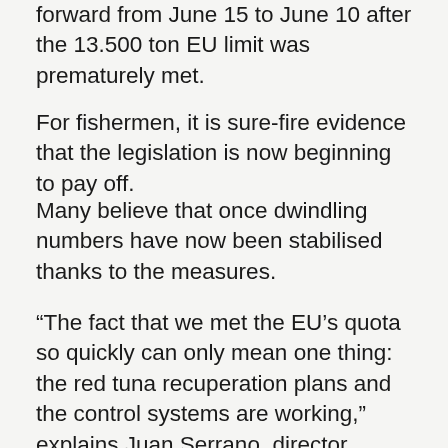forward from June 15 to June 10 after the 13.500 ton EU limit was prematurely met.
For fishermen, it is sure-fire evidence that the legislation is now beginning to pay off.
Many believe that once dwindling numbers have now been stabilised thanks to the measures.
“The fact that we met the EU’s quota so quickly can only mean one thing: the red tuna recuperation plans and the control systems are working,” explains Juan Serrano, director general of Grupo Balfego, which owns four of the six Spanish tuna fishing trawlers.